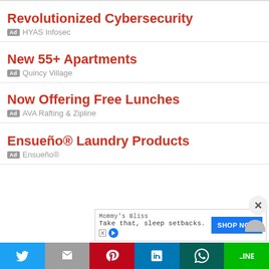Revolutionized Cybersecurity
Ad  HYAS Infosec
New 55+ Apartments
Ad  Quincy Village
Now Offering Free Lunches
Ad  AVA Rafting & Zipline
Ensueño® Laundry Products
Ad  Ensueño®
[Figure (screenshot): Banner advertisement for Mommy's Bliss with tagline 'Take that, sleep setbacks.' and a blue SHOP NOW button]
[Figure (infographic): Social sharing bar with Twitter, Gmail, Pinterest, LinkedIn, WhatsApp, and Line buttons]